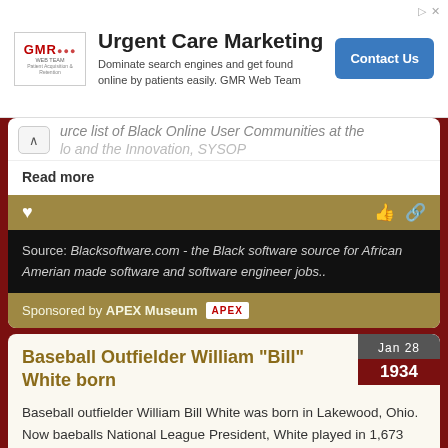[Figure (screenshot): Advertisement banner for GMR Web Team - Urgent Care Marketing. White background with GMR logo, headline 'Urgent Care Marketing', subtext 'Dominate search engines and get found online by patients easily. GMR Web Team', and a blue 'Contact Us' button.]
urce list of Black Online User Communities at the lo and the Innovation, SYSOP
Read more
Source: Blacksoftware.com - the Black software source for African Amerian made software and software engineer jobs..
Sponsored by APEX Museum
Baseball Outfielder William "Bill" White born
Jan 28 1934
Baseball outfielder William Bill White was born in Lakewood, Ohio. Now baeballs National League President, White played in 1,673 games and ended his career with a .286 batting average on 1,706 hits. He the ...